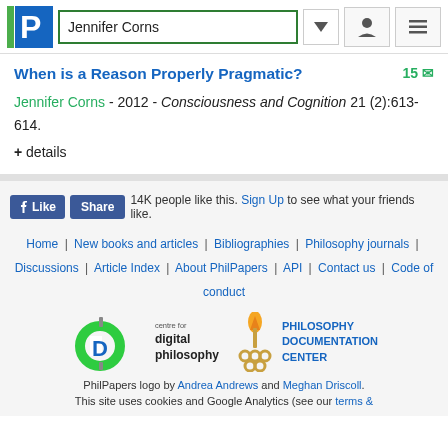[Figure (logo): PhilPapers logo with blue P and green bar]
Jennifer Corns (search box)
When is a Reason Properly Pragmatic?
Jennifer Corns - 2012 - Consciousness and Cognition 21 (2):613-614.
+ details
Like Share 14K people like this. Sign Up to see what your friends like.
Home | New books and articles | Bibliographies | Philosophy journals | Discussions | Article Index | About PhilPapers | API | Contact us | Code of conduct
[Figure (logo): Centre for Digital Philosophy logo]
[Figure (logo): Philosophy Documentation Center logo]
PhilPapers logo by Andrea Andrews and Meghan Driscoll. This site uses cookies and Google Analytics (see our terms &